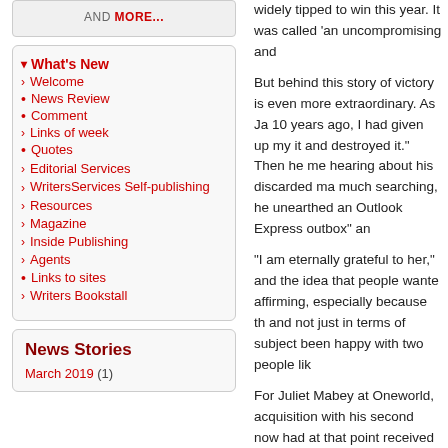AND MORE...
What's New
Welcome
News Review
Comment
Links of week
Quotes
Editorial Services
WritersServices Self-publishing
Resources
Magazine
Inside Publishing
Agents
Links to sites
Writers Bookstall
News Stories
March 2019 (1)
widely tipped to win this year. It was called 'an uncompromising and
But behind this story of victory is even more extraordinary. As Ja 10 years ago, I had given up my it and destroyed it." Then he me hearing about his discarded ma much searching, he unearthed an Outlook Express outbox" an
"I am eternally grateful to her," and the idea that people wante affirming, especially because th and not just in terms of subject been happy with two people lik
For Juliet Mabey at Oneworld, acquisition with his second now had at that point received 70 re writer must have to persist thro This is an author who really has odds and he very much deserve his great Booker-winning novel